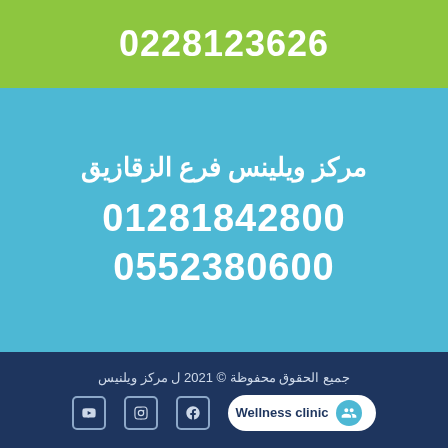0228123626
مركز ويلينس فرع الزقازيق
01281842800
0552380600
جميع الحقوق محفوظة © 2021 ل مركز ويلنيس
[Figure (logo): Wellness clinic logo badge with social media icons (YouTube, Instagram, Facebook)]